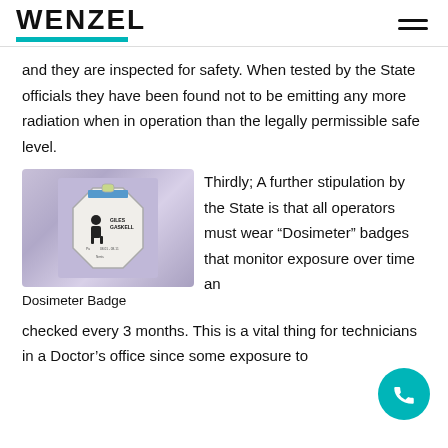WENZEL
and they are inspected for safety. When tested by the State officials they have been found not to be emitting any more radiation when in operation than the legally permissible safe level.
[Figure (photo): Close-up photo of a Dosimeter Badge clipped to a white lab coat. The badge is octagonal, shows a person icon and the name 'GILES GASKELL'.]
Dosimeter Badge
Thirdly; A further stipulation by the State is that all operators must wear “Dosimeter” badges that monitor exposure over time and checked every 3 months. This is a vital thing for technicians in a Doctor’s office since some exposure to